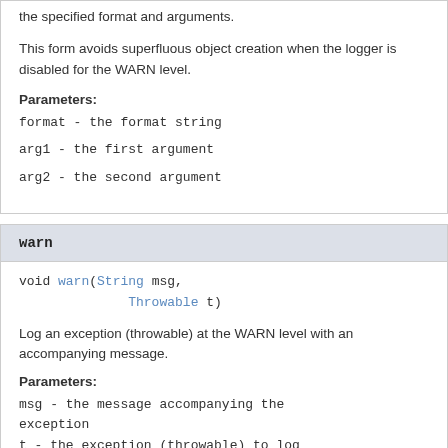the specified format and arguments.
This form avoids superfluous object creation when the logger is disabled for the WARN level.
Parameters:
format - the format string
arg1 - the first argument
arg2 - the second argument
warn
void warn(String msg,
              Throwable t)
Log an exception (throwable) at the WARN level with an accompanying message.
Parameters:
msg - the message accompanying the exception
t - the exception (throwable) to log